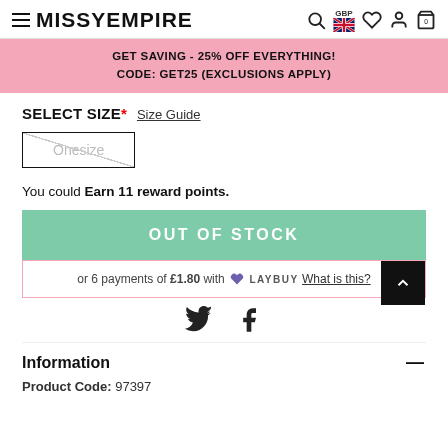MISSYEMPIRE — GBP navigation header
GET SAVING - 25% OFF EVERYTHING! CODE: GET25 (EXCLUSIONS APPLY)
SELECT SIZE* Size Guide
Onesize
You could Earn 11 reward points.
OUT OF STOCK
or 6 payments of £1.80 with LAYBUY What is this?
[Figure (illustration): Twitter and Facebook social share icons]
Information
Product Code: 97397